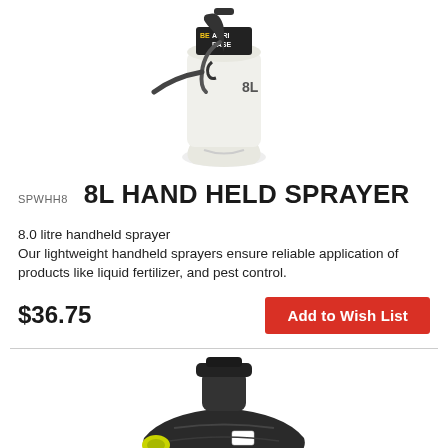[Figure (photo): BE Agri Ease 8L hand held sprayer — white translucent tank with black spray gun/wand on top]
SPWHH8   8L HAND HELD SPRAYER
8.0 litre handheld sprayer
Our lightweight handheld sprayers ensure reliable application of products like liquid fertilizer, and pest control.
$36.75
Add to Wish List
[Figure (photo): Dark/black plastic sprayer unit shown from above, with yellow nozzle fitting and white label tag visible]